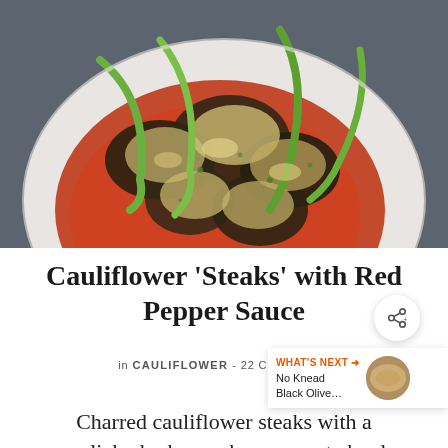[Figure (photo): Overhead close-up of charred cauliflower steaks with green pepper strips on a white plate with red pepper sauce, on a blue-grey background]
Cauliflower 'Steaks' with Red Pepper Sauce
in CAULIFLOWER - 22 COMMENTS
Charred cauliflower steaks with a garlicky herb crumb on a roasted red...